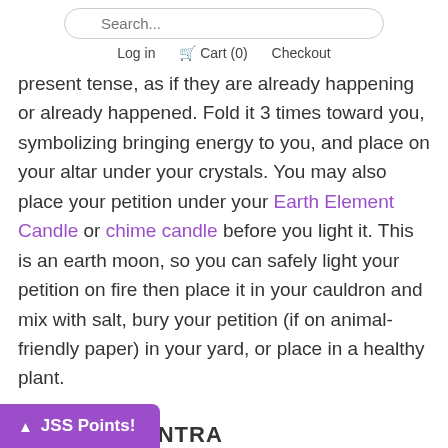Search... Log in Cart (0) Checkout
present tense, as if they are already happening or already happened. Fold it 3 times toward you, symbolizing bringing energy to you, and place on your altar under your crystals. You may also place your petition under your Earth Element Candle or chime candle before you light it. This is an earth moon, so you can safely light your petition on fire then place it in your cauldron and mix with salt, bury your petition (if on animal-friendly paper) in your yard, or place in a healthy plant.
ESTED MANTRA
JSS Points!